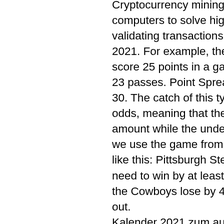Cryptocurrency mining essentially involves using specialized computers to solve highly complex cryptographic problems, validating transactions across the blockchain, bitstarz промокод 2021. For example, the player can bet that Dak Prescott can score 25 points in a game or whether Andy Dalton does around 23 passes. Point Spread: Marginal Winners or Losers, bitstarz 30. The catch of this type of bet is to bet on a game with even odds, meaning that the favorite needs to win by a certain amount while the underdog needs to lose by an even amount. If we use the game from the previous example, the bet would look like this: Pittsburgh Steelers +3. At the same time, the Steelers need to win by at least 4 points to ensure that the bet is won; if the Cowboys lose by 4 points or less, the player is also paid out. Kalender 2021 zum ausdrucken - mit